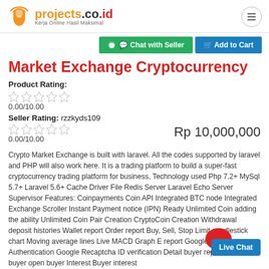projects.co.id — Kerja Online Hasil Maksimal
Market Exchange Cryptocurrency
Product Rating:
0.00/10.00
Seller Rating: rzzkyds109
0.00/10.00
Rp 10,000,000
Crypto Market Exchange is built with laravel. All the codes supported by laravel and PHP will also work here. It is a trading platform to build a super-fast cryptocurrency trading platform for business, Technology used Php 7.2+ MySql 5.7+ Laravel 5.6+ Cache Driver File Redis Server Laravel Echo Server Supervisor Features: Coinpayments Coin API Integrated BTC node Integrated Exchange Scroller Instant Payment notice (IPN) Ready Unlimited Coin adding the ability Unlimited Coin Pair Creation CryptoCoin Creation Withdrawal deposit histories Wallet report Order report Buy, Sell, Stop Limit candlestick chart Moving average lines Live MACD Graph E report Google 2FA Authentication Google Recaptcha ID verification Detail buyer report Document buyer open buyer Interest Buyer interest